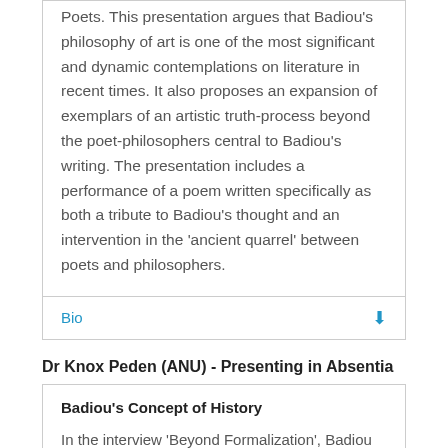Poets. This presentation argues that Badiou's philosophy of art is one of the most significant and dynamic contemplations on literature in recent times. It also proposes an expansion of exemplars of an artistic truth-process beyond the poet-philosophers central to Badiou's writing. The presentation includes a performance of a poem written specifically as both a tribute to Badiou's thought and an intervention in the 'ancient quarrel' between poets and philosophers.
Bio
Dr Knox Peden (ANU) - Presenting in Absentia
Badiou's Concept of History
In the interview 'Beyond Formalization', Badiou describes his enterprise as 'one giant confrontation with the dialectic'. This remark buttresses a schema of interpretation that finds in Badiou's thought a...